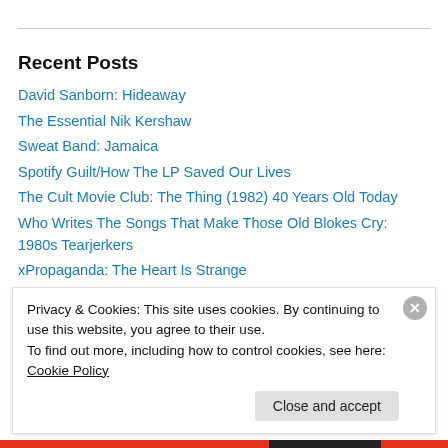Recent Posts
David Sanborn: Hideaway
The Essential Nik Kershaw
Sweat Band: Jamaica
Spotify Guilt/How The LP Saved Our Lives
The Cult Movie Club: The Thing (1982) 40 Years Old Today
Who Writes The Songs That Make Those Old Blokes Cry: 1980s Tearjerkers
xPropaganda: The Heart Is Strange
Book Review: Exit Stage Left (The Curious Afterlife Of Pop Stars) by
Privacy & Cookies: This site uses cookies. By continuing to use this website, you agree to their use. To find out more, including how to control cookies, see here: Cookie Policy